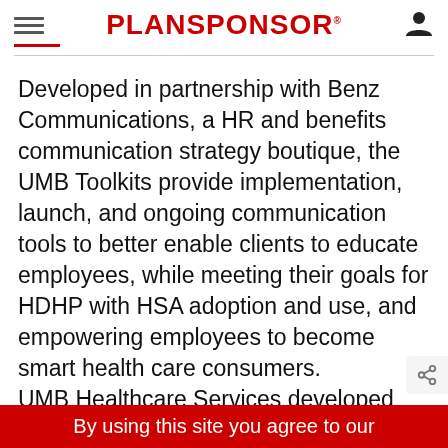PLANSPONSOR
Developed in partnership with Benz Communications, a HR and benefits communication strategy boutique, the UMB Toolkits provide implementation, launch, and ongoing communication tools to better enable clients to educate employees, while meeting their goals for HDHP with HSA adoption and use, and empowering employees to become smart health care consumers.
UMB Healthcare Services developed these
By using this site you agree to our